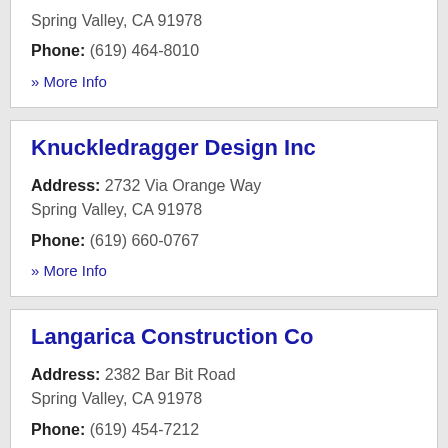Spring Valley, CA 91978
Phone: (619) 464-8010
» More Info
Knuckledragger Design Inc
Address: 2732 Via Orange Way Spring Valley, CA 91978
Phone: (619) 660-0767
» More Info
Langarica Construction Co
Address: 2382 Bar Bit Road Spring Valley, CA 91978
Phone: (619) 454-7212